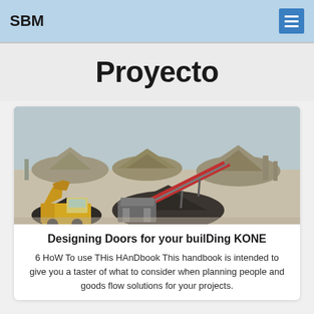SBM
Proyecto
[Figure (photo): Aerial view of a construction/mining site with heavy machinery including a yellow front loader, conveyor belt structure, and piles of aggregate/gravel material.]
Designing Doors for your builDing KONE
6 HoW To use THis HAnDbook This handbook is intended to give you a taster of what to consider when planning people and goods flow solutions for your projects.